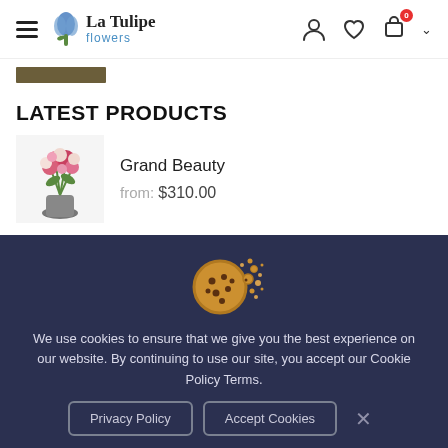La Tulipe flowers — navigation header with hamburger menu, user, heart, cart icons
[Figure (photo): Partial dark brown/olive colored image stripe, appears to be a cropped floral or product photo]
LATEST PRODUCTS
[Figure (photo): Flower bouquet product image — Grand Beauty, a red and pink floral arrangement in a vase]
Grand Beauty
from: $310.00
[Figure (illustration): Cookie illustration — a chocolate chip cookie crumbling/dissolving into crumbs]
We use cookies to ensure that we give you the best experience on our website. By continuing to use our site, you accept our Cookie Policy Terms.
Privacy Policy   Accept Cookies   ×